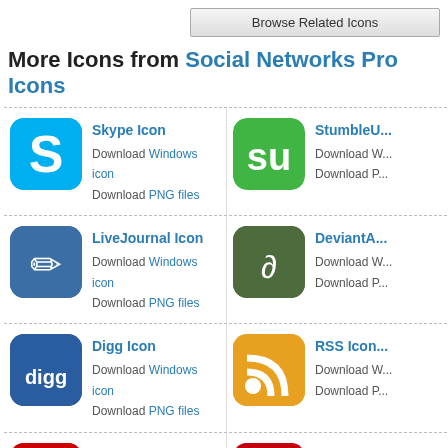Browse Related Icons
More Icons from Social Networks Pro Icons
Skype Icon — Download Windows icon, Download PNG files
StumbleU... — Download Windows icon, Download PNG files
LiveJournal Icon — Download Windows icon, Download PNG files
DeviantA... — Download Windows icon, Download PNG files
Digg Icon — Download Windows icon, Download PNG files
RSS Icon — Download Windows icon, Download PNG files
YouTube Icon — Download Windows icon, Download PNG files
Last.fm I... — Download Windows icon, Download PNG files
Tumblr Icon — Download Windows icon, Download PNG files
Facebook... — Download Windows icon, Download PNG files